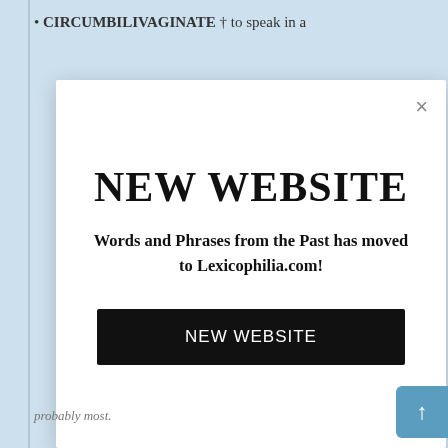• CIRCUMBILIVAGINATE † to speak in a
[Figure (screenshot): Modal dialog overlay with close (×) button, heading 'NEW WEBSITE', body text 'Words and Phrases from the Past has moved to Lexicophilia.com!', and a black button labeled 'NEW WEBSITE']
NEW WEBSITE
Words and Phrases from the Past has moved to Lexicophilia.com!
NEW WEBSITE